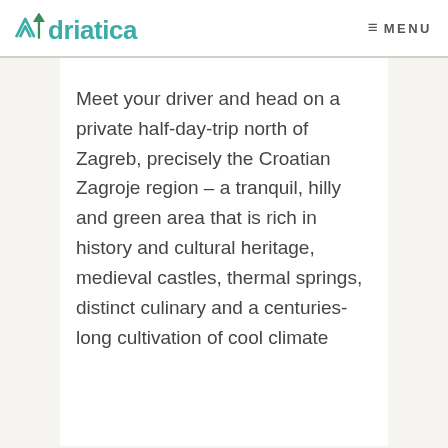Adriatica  ≡ MENU
Meet your driver and head on a private half-day-trip north of Zagreb, precisely the Croatian Zagroje region – a tranquil, hilly and green area that is rich in history and cultural heritage, medieval castles, thermal springs, distinct culinary and a centuries-long cultivation of cool climate